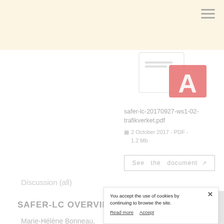[Figure (screenshot): Top beige/cream navigation bar with hamburger menu icon in top-right corner]
[Figure (screenshot): PDF document thumbnail showing Adobe Acrobat-style icon with red A symbol]
safer-lc-20170927-ws1-02-trafikverket.pdf
2 October 2017 - PDF - 1.2 Mb
See  the  document ↗
Discussion (all)
SAFER-LC OVERVIE...
Marie-Hélène Bonneau,
You accept the use of cookies by continuing to browse the site.
Read more   Accept